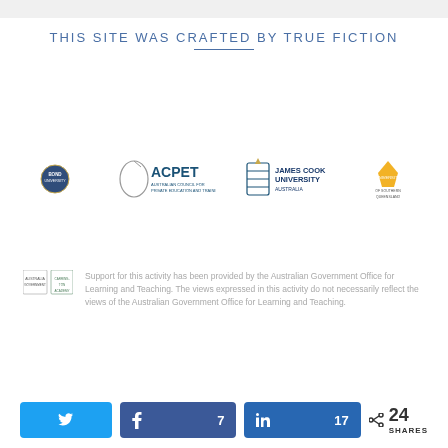THIS SITE WAS CRAFTED BY TRUE FICTION
[Figure (logo): Row of institutional logos: Bond University, ACPET (Australian Council for Private Education and Training), James Cook University Australia, and one more university logo]
[Figure (logo): Australian Government and Carrington Academy logos]
Support for this activity has been provided by the Australian Government Office for Learning and Teaching. The views expressed in this activity do not necessarily reflect the views of the Australian Government Office for Learning and Teaching.
[Figure (infographic): Social share bar with Twitter button, Facebook button showing 7 shares, LinkedIn button showing 17 shares, and total 24 SHARES count]